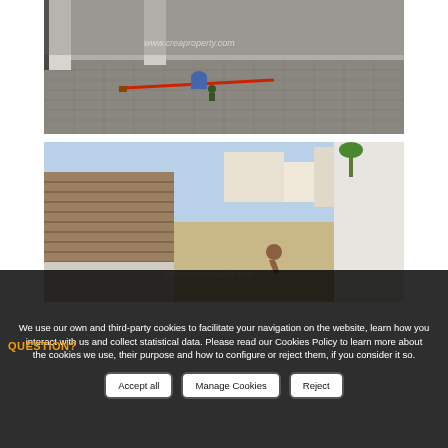[Figure (photo): Outdoor construction/renovation photo showing a tiled terrace or courtyard area with white pillars, tools, and a worker visible. Watermark: www.creaproperty.com]
[Figure (photo): Outdoor construction photo showing a narrow passageway between white-washed walls with a reed fence/wall on one side, a worker bending over, and palm trees visible in the background. Watermark: www.creaproperty.com]
We use our own and third-party cookies to facilitate your navigation on the website, learn how you interact with us and collect statistical data. Please read our Cookies Policy to learn more about the cookies we use, their purpose and how to configure or reject them, if you consider it so.
Accept all | Manage Cookies | Reject
QUESTION?